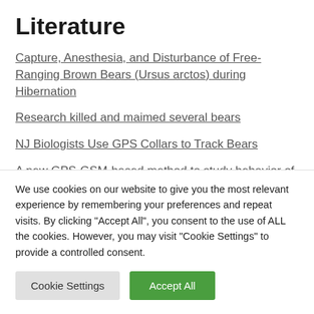Literature
Capture, Anesthesia, and Disturbance of Free-Ranging Brown Bears (Ursus arctos) during Hibernation
Research killed and maimed several bears
NJ Biologists Use GPS Collars to Track Bears
A new GPS-GSM-based method to study behavior of brown bears
We use cookies on our website to give you the most relevant experience by remembering your preferences and repeat visits. By clicking "Accept All", you consent to the use of ALL the cookies. However, you may visit "Cookie Settings" to provide a controlled consent.